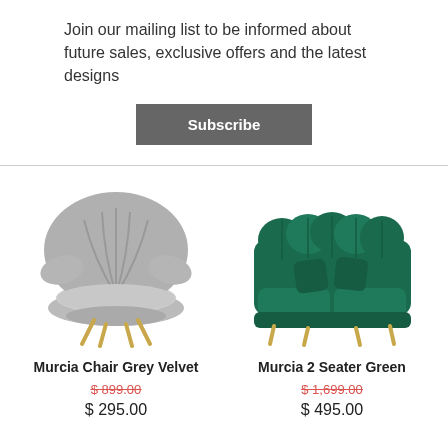Join our mailing list to be informed about future sales, exclusive offers and the latest designs
Subscribe
[Figure (photo): Grey velvet shell-shaped accent chair with tufted back and gold legs]
[Figure (photo): Green velvet 2-seater sofa with scalloped back, two throw pillows, and gold legs]
Murcia Chair Grey Velvet
$ 899.00 (strikethrough) $ 295.00
Murcia 2 Seater Green
$ 1,699.00 (strikethrough) $ 495.00